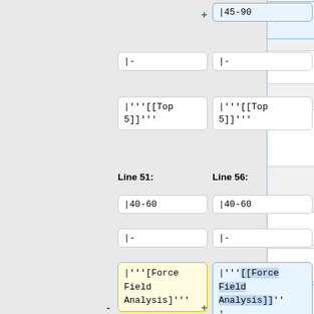|45-90
|-
|'''[[Top 5]]'''
Line 51:
Line 56:
|40-60
|-
|'''[Force Field Analysis]'''
|'''[[Force Field Analysis]]'''
|A plan designed around the force field analysis technique
|A plan designed around the force field analysis technique